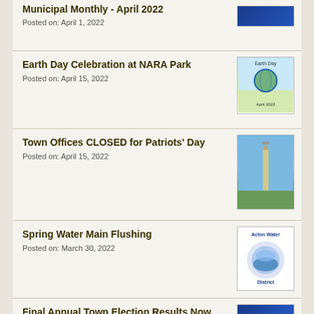Municipal Monthly - April 2022
Posted on: April 1, 2022
Earth Day Celebration at NARA Park
Posted on: April 15, 2022
[Figure (illustration): Earth Day celebration flyer with globe graphic]
Town Offices CLOSED for Patriots' Day
Posted on: April 15, 2022
[Figure (photo): Tall obelisk monument against blue sky with trees]
Spring Water Main Flushing
Posted on: March 30, 2022
[Figure (logo): Acton Water District circular logo]
Final Annual Town Election Results Now Available
Posted on: March 29, 2022
[Figure (photo): Election Results banner with red stamp text on blue background]
Public...